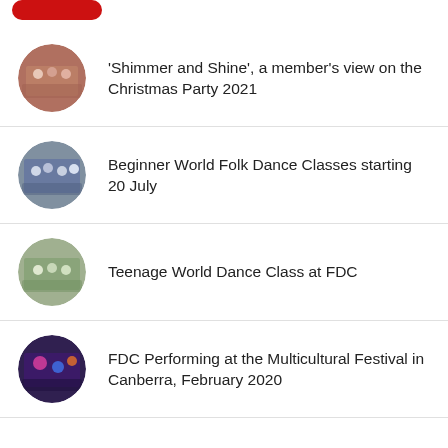[Figure (logo): Red logo/button partially visible at top left]
‘Shimmer and Shine’, a member’s view on the Christmas Party 2021
Beginner World Folk Dance Classes starting 20 July
Teenage World Dance Class at FDC
FDC Performing at the Multicultural Festival in Canberra, February 2020